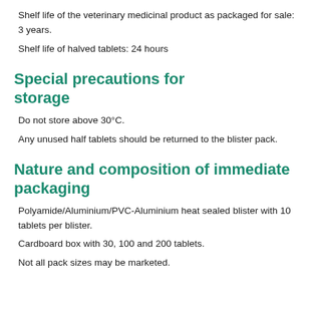Shelf life of the veterinary medicinal product as packaged for sale: 3 years.
Shelf life of halved tablets: 24 hours
Special precautions for storage
Do not store above 30°C.
Any unused half tablets should be returned to the blister pack.
Nature and composition of immediate packaging
Polyamide/Aluminium/PVC-Aluminium heat sealed blister with 10 tablets per blister.
Cardboard box with 30, 100 and 200 tablets.
Not all pack sizes may be marketed.